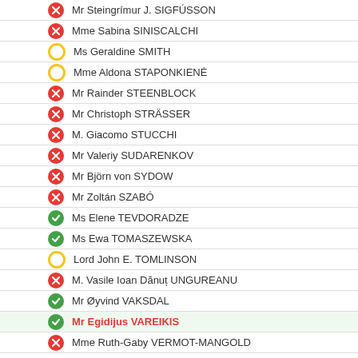Mr Steingrímur J. SIGFÚSSON
Mme Sabina SINISCALCHI
Ms Geraldine SMITH
Mme Aldona STAPONKIENĖ
Mr Rainder STEENBLOCK
Mr Christoph STRÄSSER
M. Giacomo STUCCHI
Mr Valeriy SUDARENKOV
Mr Björn von SYDOW
Mr Zoltán SZABÓ
Ms Elene TEVDORADZE
Ms Ewa TOMASZEWSKA
Lord John E. TOMLINSON
M. Vasile Ioan Dănuț UNGUREANU
Mr Øyvind VAKSDAL
Mr Egidijus VAREIKIS
Mme Ruth-Gaby VERMOT-MANGOLD